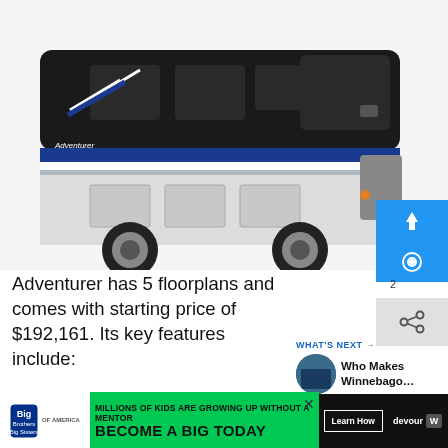[Figure (photo): Side view of a large black and white Winnebago Adventurer Class A motorhome RV against a white background]
Adventurer has 5 floorplans and comes with starting price of $192,161. Its key features include:
Flexible entertaining
[Figure (screenshot): Advertisement banner: Big Brothers Big Sisters - Millions of kids are growing up without a mentor. Become a big today. Learn How.]